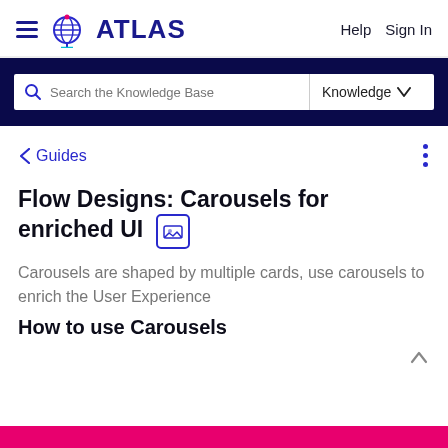ATLAS — Help Sign In
Search the Knowledge Base — Knowledge
< Guides
Flow Designs: Carousels for enriched UI
Carousels are shaped by multiple cards, use carousels to enrich the User Experience
How to use Carousels